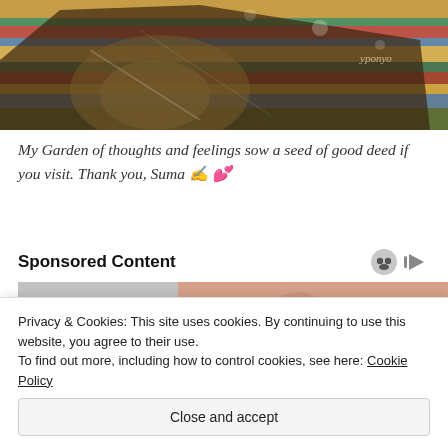[Figure (illustration): Colorful illustrated image showing a striped textile/blanket scene with warm yellow light and dark silhouettes. A signature 'yponyo' is visible in the top right.]
My Garden of thoughts and feelings sow a seed of good deed if you visit. Thank you, Suma ✍️ 💕
Sponsored Content
[Figure (photo): Advertisement image showing a close-up of a woman's face (nose and lips) with a dental implant illustration circle overlaid on the left side showing a tooth implant on a screw, set against a light blue background.]
Privacy & Cookies: This site uses cookies. By continuing to use this website, you agree to their use.
To find out more, including how to control cookies, see here: Cookie Policy
Close and accept